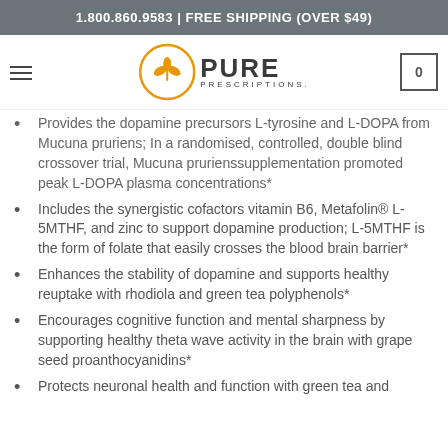1.800.860.9583 | FREE SHIPPING (OVER $49)
[Figure (logo): Pure Prescriptions logo with orange circular plant icon and company name]
Provides the dopamine precursors L-tyrosine and L-DOPA from Mucuna pruriens; In a randomised, controlled, double blind crossover trial, Mucuna prurienssupplementation promoted peak L-DOPA plasma concentrations*
Includes the synergistic cofactors vitamin B6, Metafolin® L-5MTHF, and zinc to support dopamine production; L-5MTHF is the form of folate that easily crosses the blood brain barrier*
Enhances the stability of dopamine and supports healthy reuptake with rhodiola and green tea polyphenols*
Encourages cognitive function and mental sharpness by supporting healthy theta wave activity in the brain with grape seed proanthocyanidins*
Protects neuronal health and function with green tea and